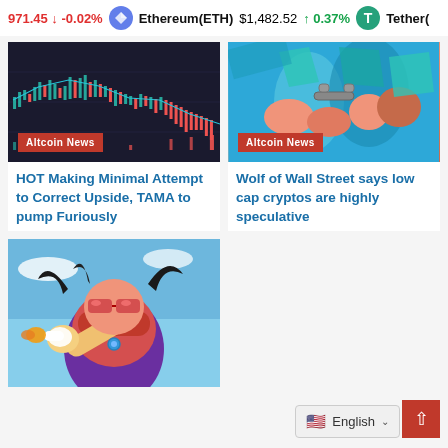971.45 ↓ -0.02%  Ethereum(ETH)  $1,482.52  ↑ 0.37%  Tether(
[Figure (screenshot): Cryptocurrency candlestick chart with green/red bars and price lines on dark background]
[Figure (illustration): Comic-style illustration of hands in teal and orange colors, blockchain/handcuff imagery, Altcoin News badge]
HOT Making Minimal Attempt to Correct Upside, TAMA to pump Furiously
Wolf of Wall Street says low cap cryptos are highly speculative
[Figure (illustration): Comic-style superhero character pointing finger, wearing red sunglasses and purple outfit, sky background]
English